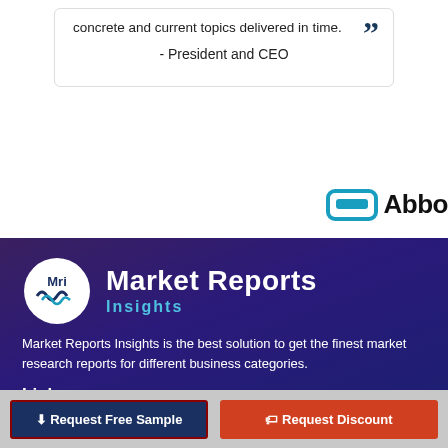concrete and current topics delivered in time.
- President and CEO
[Figure (logo): Abbott company logo with stylized 'a' icon in teal/blue and bold text 'Abbo' (partially visible)]
[Figure (logo): Market Reports Insights logo: circular MRI emblem with white background and dark text, next to bold white text 'Market Reports' and teal subtitle 'Insights']
Market Reports Insights is the best solution to get the finest market research reports for different business categories.
Links
FAQs
Request Free Sample
Request Discount